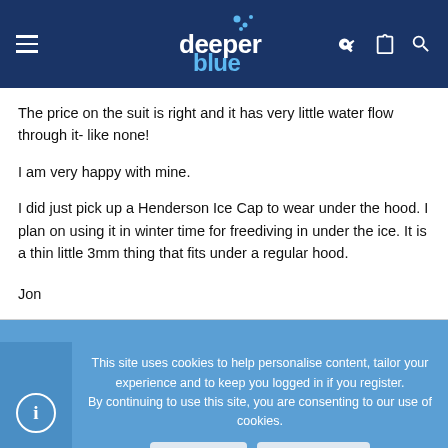deeper blue (website header with logo and navigation icons)
The price on the suit is right and it has very little water flow through it- like none!
I am very happy with mine.
I did just pick up a Henderson Ice Cap to wear under the hood. I plan on using it in winter time for freediving in under the ice. It is a thin little 3mm thing that fits under a regular hood.
Jon
This site uses cookies to help personalise content, tailor your experience and to keep you logged in if you register.
By continuing to use this site, you are consenting to our use of cookies.